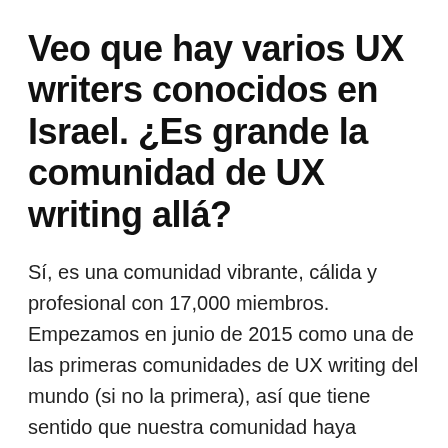Veo que hay varios UX writers conocidos en Israel. ¿Es grande la comunidad de UX writing allá?
Sí, es una comunidad vibrante, cálida y profesional con 17,000 miembros. Empezamos en junio de 2015 como una de las primeras comunidades de UX writing del mundo (si no la primera), así que tiene sentido que nuestra comunidad haya tomado una posición tan destacada a nivel mundial. Israel está repleto de tecnología, por lo que había una verdadera sed en el mercado israelí para la profesionalización